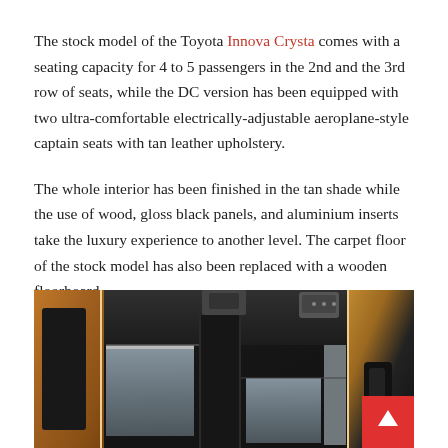The stock model of the Toyota Innova Crysta comes with a seating capacity for 4 to 5 passengers in the 2nd and the 3rd row of seats, while the DC version has been equipped with two ultra-comfortable electrically-adjustable aeroplane-style captain seats with tan leather upholstery.
The whole interior has been finished in the tan shade while the use of wood, gloss black panels, and aluminium inserts take the luxury experience to another level. The carpet floor of the stock model has also been replaced with a wooden floorboard.
[Figure (photo): Interior photo of the Toyota Innova Crysta DC version showing the tan/brown leather B-pillar trim, dark ceiling headliner, overhead console, window glass panels, and a red scroll-to-top button overlay in the bottom right corner.]